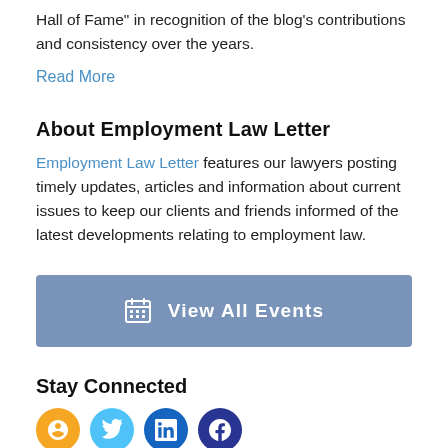Hall of Fame" in recognition of the blog's contributions and consistency over the years.
Read More
About Employment Law Letter
Employment Law Letter features our lawyers posting timely updates, articles and information about current issues to keep our clients and friends informed of the latest developments relating to employment law.
[Figure (other): Blue button with calendar icon and text 'View All Events']
Stay Connected
[Figure (other): Row of social media icon circles in orange, light blue, dark blue, and dark blue]